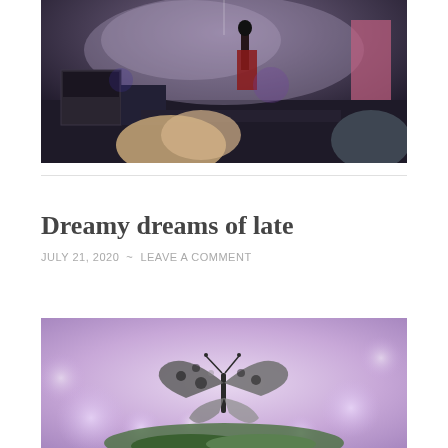[Figure (photo): Concert photo showing a performer on stage with smoke/haze, audience members in foreground with hands raised, speakers and stage equipment visible, dark atmosphere with colored lighting]
Dreamy dreams of late
JULY 21, 2020 ~ LEAVE A COMMENT
[Figure (photo): Close-up photo of a butterfly with patterned wings resting on green foliage, soft purple/pink bokeh background with light circles]